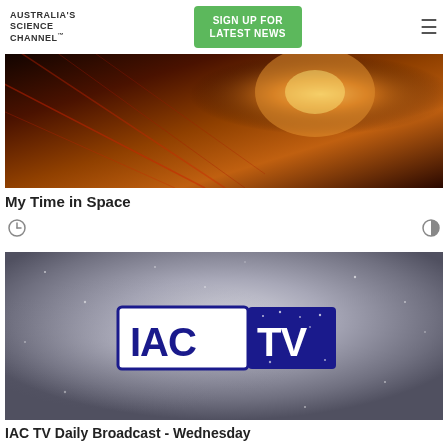AUSTRALIA'S SCIENCE CHANNEL™ | SIGN UP FOR LATEST NEWS
[Figure (photo): Dark orange and red abstract image with diagonal lines and bright glowing light, representing space or science imagery. Thumbnail for 'My Time in Space'.]
My Time in Space
[Figure (photo): Grey nebula/starfield background with IAC TV logo in center — white letters 'IAC' in outline box and 'TV' in dark blue box with stars. Thumbnail for 'IAC TV Daily Broadcast - Wednesday'.]
IAC TV Daily Broadcast - Wednesday